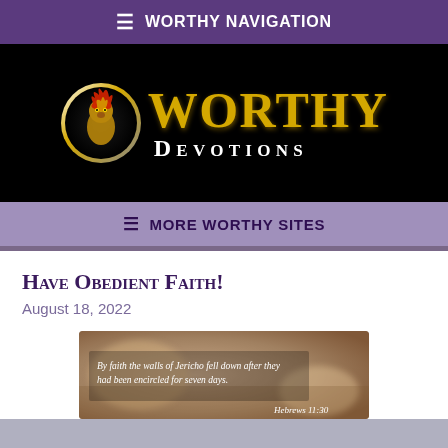≡ Worthy Navigation
[Figure (logo): Worthy Devotions logo: circular lion emblem with gold WORTHY text and white DEVOTIONS text on black background]
≡ More Worthy Sites
Have Obedient Faith!
August 18, 2022
[Figure (photo): Blurred background photo with text overlay: 'By faith the walls of Jericho fell down after they had been encircled for seven days.' and 'Hebrews 11:30' at bottom]